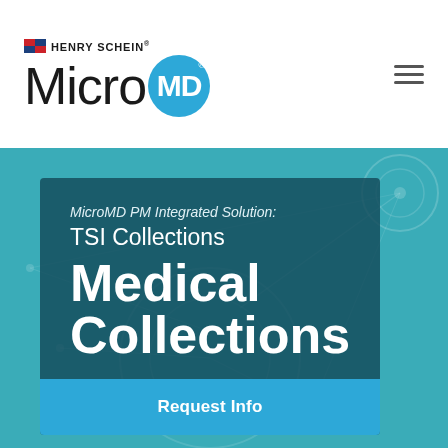[Figure (logo): Henry Schein MicroMD logo with blue circle MD badge and hamburger menu icon]
[Figure (infographic): Teal hero section with network diagram background and dark card overlay showing MicroMD PM Integrated Solution: TSI Collections Medical Collections with a Request Info button]